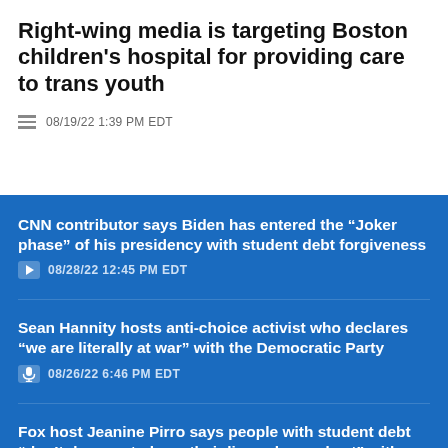Right-wing media is targeting Boston children's hospital for providing care to trans youth
08/19/22 1:39 PM EDT
CNN contributor says Biden has entered the “Joker phase” of his presidency with student debt forgiveness — 08/28/22 12:45 PM EDT
Sean Hannity hosts anti-choice activist who declares “we are literally at war” with the Democratic Party — 08/26/22 6:46 PM EDT
Fox host Jeanine Pirro says people with student debt “don’t deserve to have their lives changed yet” with debt relief — 08/26/22 6:22 PM EDT
Fox News can’t decide whether the FBI should’ve gotten another subpoena for Mar-a-Lago or just ignored the